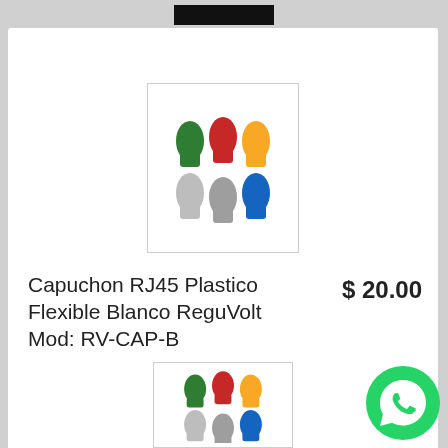[Figure (photo): Product photo showing 6 RJ45 plastic flexible cable boots in multiple colors: green, red, yellow, grey/white, and blue]
Capuchon RJ45 Plastico Flexible Blanco ReguVolt Mod: RV-CAP-B
$ 20.00
Sin stock en Cipolletti
Stock alto en Neuquén
Sin stock en Central
- 0 +
Comprar
[Figure (photo): Second product photo showing same 6 RJ45 plastic flexible cable boots in multiple colors]